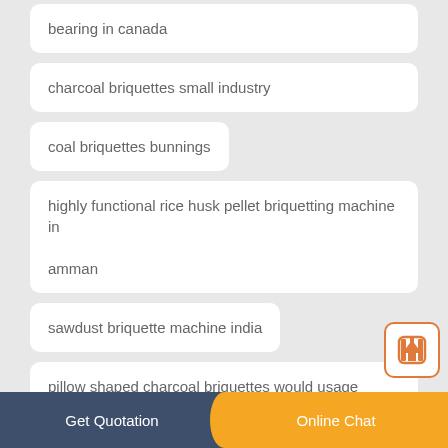bearing in canada
charcoal briquettes small industry
coal briquettes bunnings
highly functional rice husk pellet briquetting machine in amman
sawdust briquette machine india
pillow shaped charcoal briquettes would usage statistics
briquetting machine price in kolkata
charcoal briquette making machine
Get Quotation   Online Chat